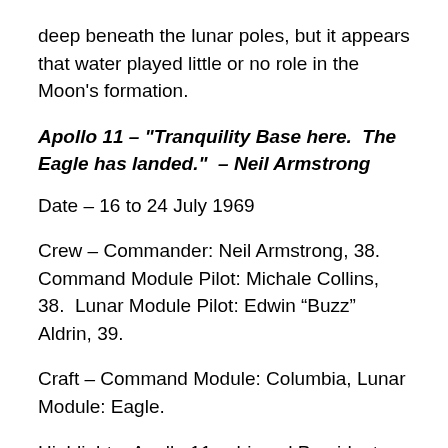deep beneath the lunar poles, but it appears that water played little or no role in the Moon's formation.
Apollo 11 – "Tranquility Base here.  The Eagle has landed."  – Neil Armstrong
Date – 16 to 24 July 1969
Crew – Commander: Neil Armstrong, 38.  Command Module Pilot: Michale Collins, 38.  Lunar Module Pilot: Edwin “Buzz” Aldrin, 39.
Craft – Command Module: Columbia, Lunar Module: Eagle.
Highlight – Apollo 11 achieved President Kennedy’s goal of landing a man on the Moon and returning him safely to Earth.  After landing on the Moon with only 30 seconds of